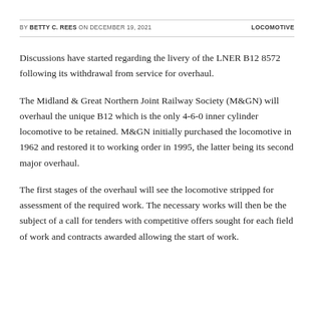BY BETTY C. REES ON DECEMBER 19, 2021   LOCOMOTIVE
Discussions have started regarding the livery of the LNER B12 8572 following its withdrawal from service for overhaul.
The Midland & Great Northern Joint Railway Society (M&GN) will overhaul the unique B12 which is the only 4-6-0 inner cylinder locomotive to be retained. M&GN initially purchased the locomotive in 1962 and restored it to working order in 1995, the latter being its second major overhaul.
The first stages of the overhaul will see the locomotive stripped for assessment of the required work. The necessary works will then be the subject of a call for tenders with competitive offers sought for each field of work and contracts awarded allowing the start of work.